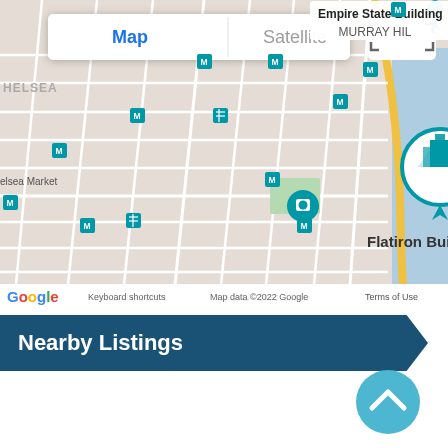[Figure (map): Google Maps view of Midtown/Chelsea area of New York City showing Flatiron Building marker, Empire State Building pin, street grid, MURRAY HILL, GRAMERCY PARK, PETER COOPER labels, subway M markers, zoom controls, street view icon, Map/Satellite toggle, and Google attribution. Map data ©2022 Google.]
Nearby Listings
[Figure (illustration): Circular teal/blue scroll-up chevron button in bottom-right corner]